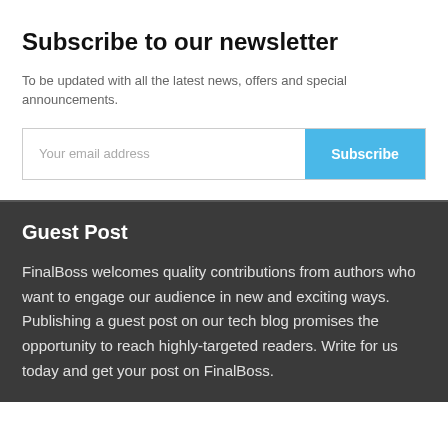Subscribe to our newsletter
To be updated with all the latest news, offers and special announcements.
Your email address  Subscribe
Guest Post
FinalBoss welcomes quality contributions from authors who want to engage our audience in new and exciting ways. Publishing a guest post on our tech blog promises the opportunity to reach highly-targeted readers. Write for us today and get your post on FinalBoss.